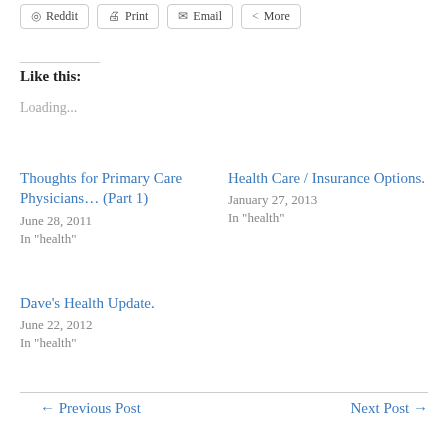Reddit
Print
Email
More
Like this:
Loading...
Thoughts for Primary Care Physicians… (Part 1)
June 28, 2011
In "health"
Health Care / Insurance Options.
January 27, 2013
In "health"
Dave's Health Update.
June 22, 2012
In "health"
← Previous Post
Next Post →